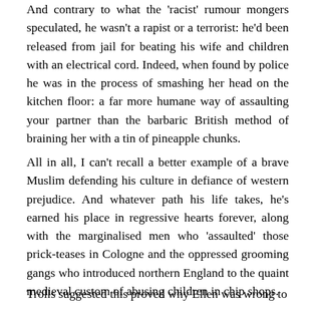And contrary to what the 'racist' rumour mongers speculated, he wasn't a rapist or a terrorist: he'd been released from jail for beating his wife and children with an electrical cord. Indeed, when found by police he was in the process of smashing her head on the kitchen floor: a far more humane way of assaulting your partner than the barbaric British method of braining her with a tin of pineapple chunks.
All in all, I can't recall a better example of a brave Muslim defending his culture in defiance of western prejudice. And whatever path his life takes, he's earned his place in regressive hearts forever, along with the marginalised men who 'assaulted' those prick-teases in Cologne and the oppressed grooming gangs who introduced northern England to the quaint medieval custom of abusing children in chip shops.
Trolls suggested this proved why Ellen was wrong to